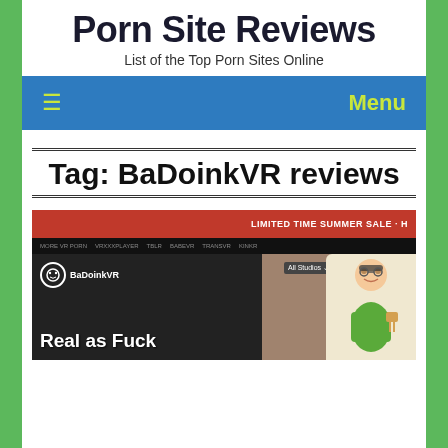Porn Site Reviews
List of the Top Porn Sites Online
≡  Menu
Tag: BaDoinkVR reviews
[Figure (screenshot): Screenshot of BaDoinkVR website showing red top bar with 'LIMITED TIME SUMMER SALE', black navigation bar, logo area with BaDoinkVR text, search box, and large text 'Real as Fuck' over a dark background with a cartoon character on the right side]